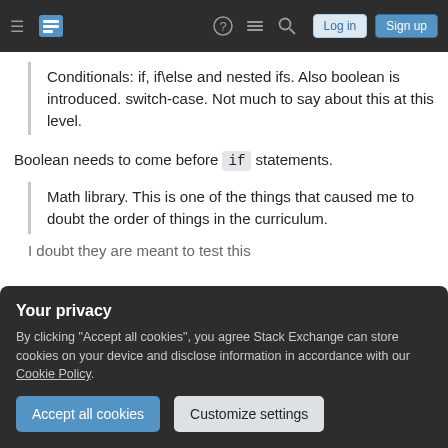Stack Exchange navigation bar with hamburger menu, logo, help, chat, search icons, Log in and Sign up buttons
Conditionals: if, if\else and nested ifs. Also boolean is introduced. switch-case. Not much to say about this at this level.
Boolean needs to come before if statements.
Math library. This is one of the things that caused me to doubt the order of things in the curriculum.
Your privacy
By clicking "Accept all cookies", you agree Stack Exchange can store cookies on your device and disclose information in accordance with our Cookie Policy.
Accept all cookies
Customize settings